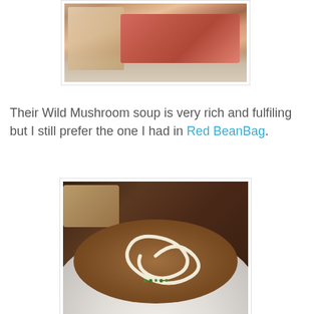[Figure (photo): Photo of food items including what appears to be chips/crackers and meat on a white surface]
Their Wild Mushroom soup is very rich and fulfiling but I still prefer the one I had in Red BeanBag.
[Figure (photo): Close-up photo of a bowl of Wild Mushroom soup with a cream swirl on top and green herb garnish, served in a white bowl on a white plate]